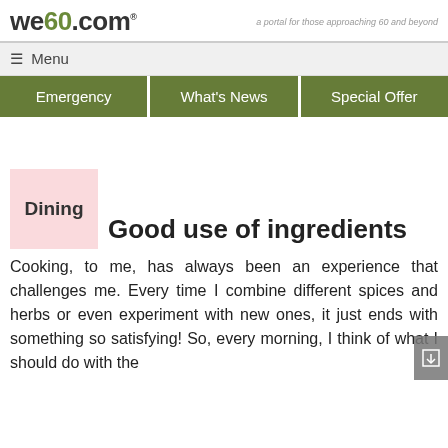we60.com — a portal for those approaching 60 and beyond
☰ Menu
Emergency | What's News | Special Offer
Dining
Good use of ingredients
Cooking, to me, has always been an experience that challenges me. Every time I combine different spices and herbs or even experiment with new ones, it just ends with something so satisfying! So, every morning, I think of what I should do with the